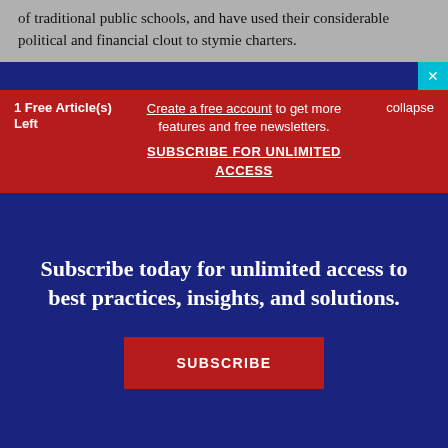of traditional public schools, and have used their considerable political and financial clout to stymie charters.
1 Free Article(s) Left
Create a free account to get more features and free newsletters.
SUBSCRIBE FOR UNLIMITED ACCESS
collapse
Subscribe today for unlimited access to best practices, insights, and solutions.
SUBSCRIBE